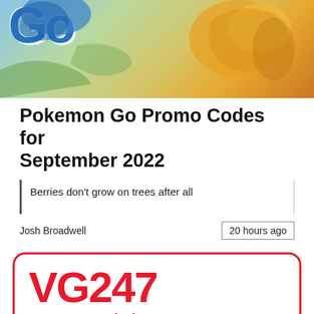[Figure (photo): Pokemon Go hero image with colorful background showing autumn colors and a golden bird Pokemon. The Pokemon Go logo letters 'Go' are visible in the top left.]
Pokemon Go Promo Codes for September 2022
Berries don't grow on trees after all
Josh Broadwell    20 hours ago
[Figure (logo): VG247 logo in red with rounded border box, large bold red text VG247 and subtitle text below beginning with 'Recommended']